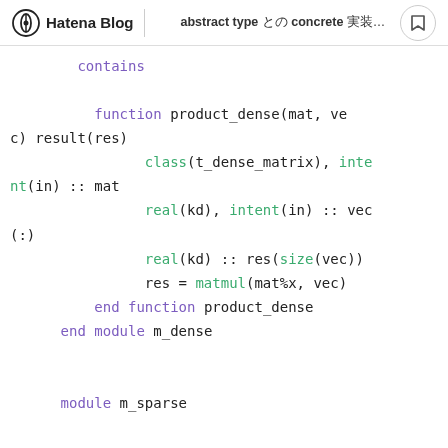Hatena Blog | abstract type と concrete …
contains

          function product_dense(mat, vec) result(res)
                class(t_dense_matrix), intent(in) :: mat
                real(kd), intent(in) :: vec(:)
                real(kd) :: res(size(vec))
                res = matmul(mat%x, vec)
          end function product_dense
      end module m_dense

      module m_sparse